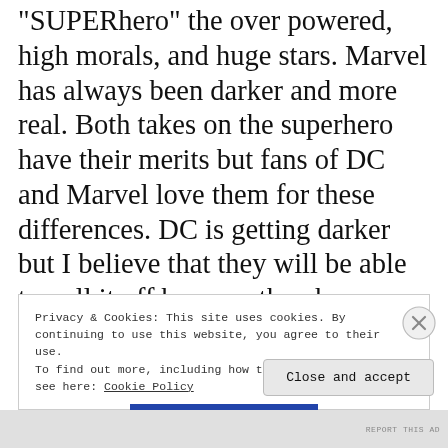“SUPERhero” the over powered, high morals, and huge stars. Marvel has always been darker and more real. Both takes on the superhero have their merits but fans of DC and Marvel love them for these differences. DC is getting darker but I believe that they will be able to pull it off because they have gotten Guillarmo Del Torro to write and direct a film starring the lesser known but darker DC characters.
Privacy & Cookies: This site uses cookies. By continuing to use this website, you agree to their use.
To find out more, including how to control cookies, see here: Cookie Policy
Close and accept
REPORT THIS AD